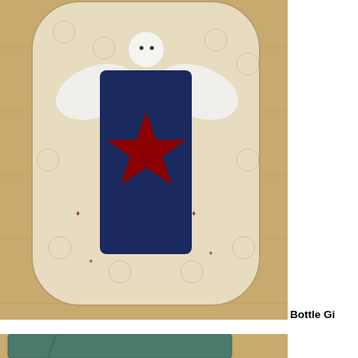[Figure (photo): A fabric bottle gift bag with a patriotic angel design. The bag is made of cream/beige fabric with small printed motifs. An angel applique on the bag features a white felt head, white felt wings, a navy blue body, and a large red star in the center. The bag is rounded at the bottom and sits on a light wood floor.]
Bottle Gi
[Figure (photo): Partial view of a teal/dark green folded fabric or towel item on a light wood floor surface.]